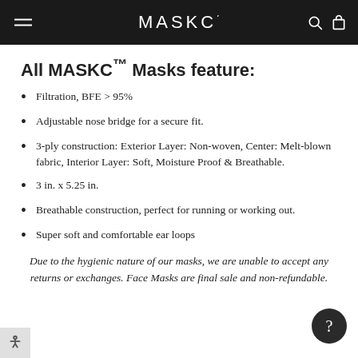MASKC
All MASKC™ Masks feature:
Filtration, BFE > 95%
Adjustable nose bridge for a secure fit.
3-ply construction: Exterior Layer: Non-woven, Center: Melt-blown fabric, Interior Layer: Soft, Moisture Proof & Breathable.
3 in. x 5.25 in.
Breathable construction, perfect for running or working out.
Super soft and comfortable ear loops
Due to the hygienic nature of our masks, we are unable to accept any returns or exchanges. Face Masks are final sale and non-refundable.